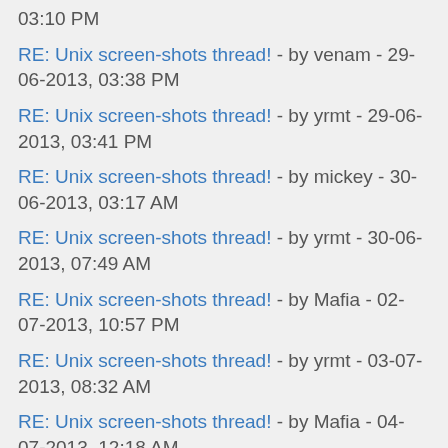03:10 PM
RE: Unix screen-shots thread! - by venam - 29-06-2013, 03:38 PM
RE: Unix screen-shots thread! - by yrmt - 29-06-2013, 03:41 PM
RE: Unix screen-shots thread! - by mickey - 30-06-2013, 03:17 AM
RE: Unix screen-shots thread! - by yrmt - 30-06-2013, 07:49 AM
RE: Unix screen-shots thread! - by Mafia - 02-07-2013, 10:57 PM
RE: Unix screen-shots thread! - by yrmt - 03-07-2013, 08:32 AM
RE: Unix screen-shots thread! - by Mafia - 04-07-2013, 12:18 AM
RE: Unix screen-shots thread! - by yrmt - 04-07-2013, 05:56 AM
RE: Unix screen-shots thread! - by Mafia - 04-07-2013, 08:45 PM
RE: Unix screen-shots thread! - by berk - 04-07-2013, 09:22 PM